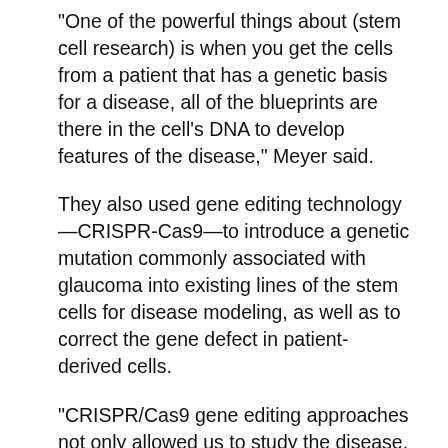“One of the powerful things about (stem cell research) is when you get the cells from a patient that has a genetic basis for a disease, all of the blueprints are there in the cell’s DNA to develop features of the disease,” Meyer said.
They also used gene editing technology—CRISPR-Cas9—to introduce a genetic mutation commonly associated with glaucoma into existing lines of the stem cells for disease modeling, as well as to correct the gene defect in patient-derived cells.
“CRISPR/Cas9 gene editing approaches not only allowed us to study the disease, but using this approach we were also able to show how correcting the gene mutation reversed the disease, demonstrating the potential for gene therapy approaches as well,” Huang said.